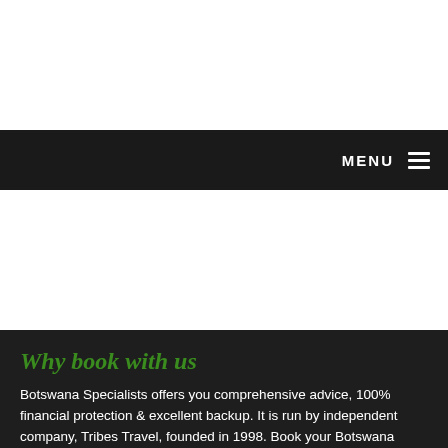MENU
Why book with us
Botswana Specialists offers you comprehensive advice, 100% financial protection & excellent backup. It is run by independent company, Tribes Travel, founded in 1998. Book your Botswana safari direct with us in the UK for your